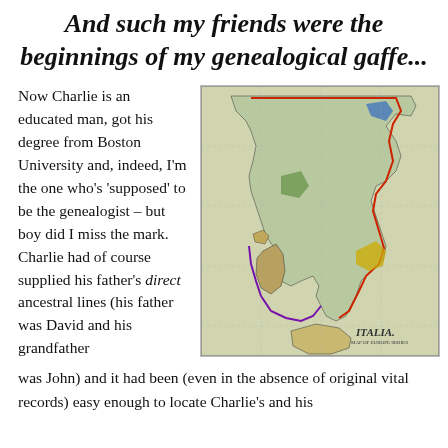And such my friends were the beginnings of my genealogical gaffe...
Now Charlie is an educated man, got his degree from Boston University and, indeed, I'm the one who's 'supposed' to be the genealogist – but boy did I miss the mark. Charlie had of course supplied his father's direct ancestral lines (his father was David and his grandfather was John) and it had been (even in the absence of original vital records) easy enough to locate Charlie's and his
[Figure (map): Historical map of Italia (Italy) showing regional boundaries marked with colored lines (red, blue, purple, yellow, green), with islands including Sardinia and Sicily, on a yellowed background. The map label reads ITALIA.]